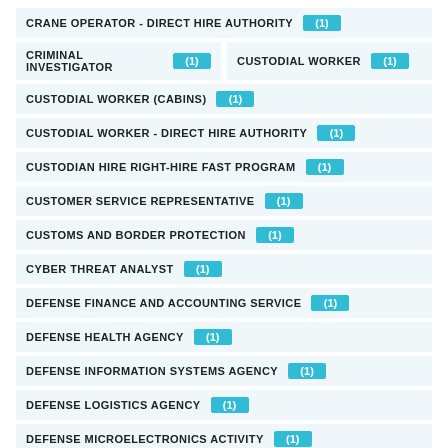CRANE OPERATOR - DIRECT HIRE AUTHORITY (1)
CRIMINAL INVESTIGATOR (1)
CUSTODIAL WORKER (1)
CUSTODIAL WORKER (CABINS) (1)
CUSTODIAL WORKER - DIRECT HIRE AUTHORITY (1)
CUSTODIAN HIRE RIGHT-HIRE FAST PROGRAM (1)
CUSTOMER SERVICE REPRESENTATIVE (1)
CUSTOMS AND BORDER PROTECTION (1)
CYBER THREAT ANALYST (1)
DEFENSE FINANCE AND ACCOUNTING SERVICE (1)
DEFENSE HEALTH AGENCY (1)
DEFENSE INFORMATION SYSTEMS AGENCY (1)
DEFENSE LOGISTICS AGENCY (1)
DEFENSE MICROELECTRONICS ACTIVITY (1)